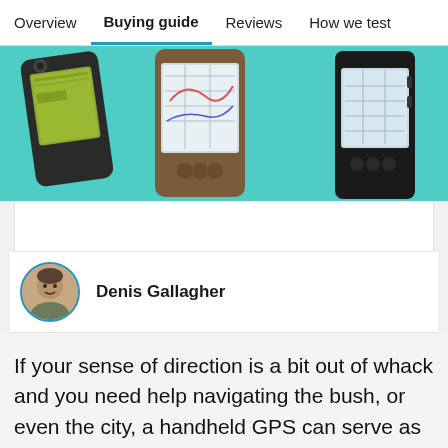Overview | Buying guide | Reviews | How we test
[Figure (photo): Three handheld GPS devices displayed against a teal/turquoise background]
Denis Gallagher
If your sense of direction is a bit out of whack and you need help navigating the bush, or even the city, a handheld GPS can serve as your own